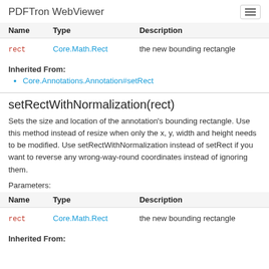PDFTron WebViewer
| Name | Type | Description |
| --- | --- | --- |
| rect | Core.Math.Rect | the new bounding rectangle |
Inherited From:
Core.Annotations.Annotation#setRect
setRectWithNormalization(rect)
Sets the size and location of the annotation's bounding rectangle. Use this method instead of resize when only the x, y, width and height needs to be modified. Use setRectWithNormalization instead of setRect if you want to reverse any wrong-way-round coordinates instead of ignoring them.
Parameters:
| Name | Type | Description |
| --- | --- | --- |
| rect | Core.Math.Rect | the new bounding rectangle |
Inherited From: